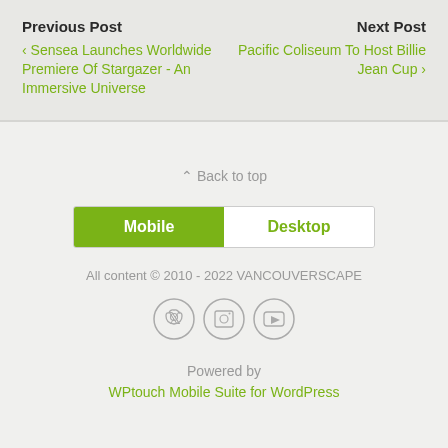Previous Post
‹ Sensea Launches Worldwide Premiere Of Stargazer - An Immersive Universe
Next Post
Pacific Coliseum To Host Billie Jean Cup ›
⌃ Back to top
Mobile | Desktop
All content © 2010 - 2022 VANCOUVERSCAPE
[Figure (infographic): Three circular social media icons: Twitter, Instagram, YouTube]
Powered by
WPtouch Mobile Suite for WordPress